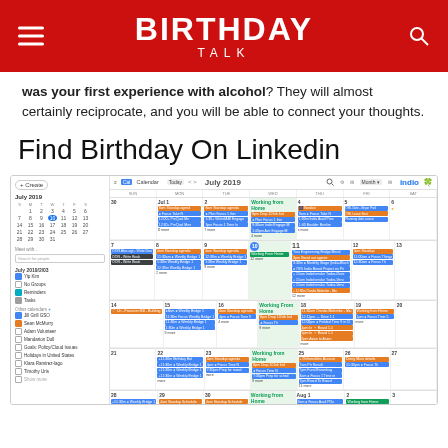BIRTHDAY TALK
was your first experience with alcohol? They will almost certainly reciprocate, and you will be able to connect your thoughts.
Find Birthday On Linkedin
[Figure (screenshot): Google Calendar screenshot showing July 2019 with various calendar events in blue, orange, green, and teal colors. Left sidebar shows a mini calendar, create button, and calendar list including Yip Kim, No Groups, Reminders, Tasks, and other calendars.]